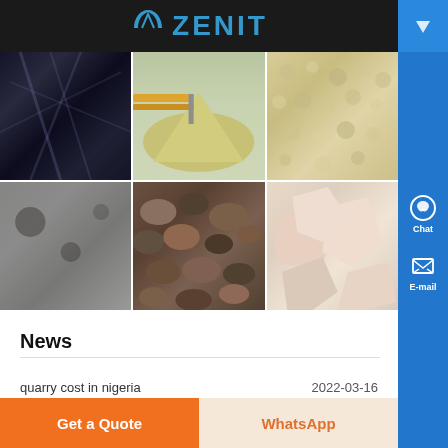[Figure (logo): Zenit company logo with blue arc symbol and ZENIT text in blue on dark background header]
[Figure (photo): 6-photo grid showing mining/quarry materials: dark mineral crystals, conveyor belt with sand pile, light gravel, gray sand/rock surface, mixed river pebbles, pink/white rough rock chunks]
News
quarry cost in nigeria  2022-03-16
[Figure (screenshot): Bottom action bar with orange 'Get a Quote' button and beige 'WhatsApp' button]